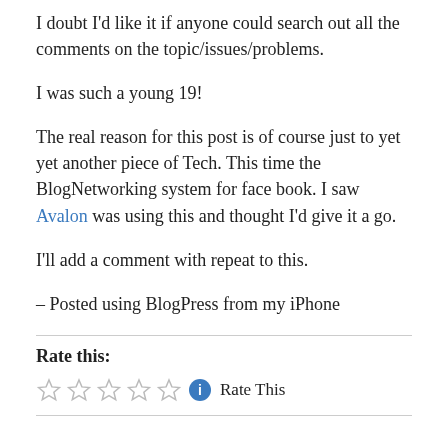I doubt I'd like it if anyone could search out all the comments on the topic/issues/problems.
I was such a young 19!
The real reason for this post is of course just to yet yet another piece of Tech. This time the BlogNetworking system for face book. I saw Avalon was using this and thought I'd give it a go.
I'll add a comment with repeat to this.
– Posted using BlogPress from my iPhone
Rate this:
[Figure (other): Five empty star rating icons followed by a blue info circle icon and 'Rate This' text]